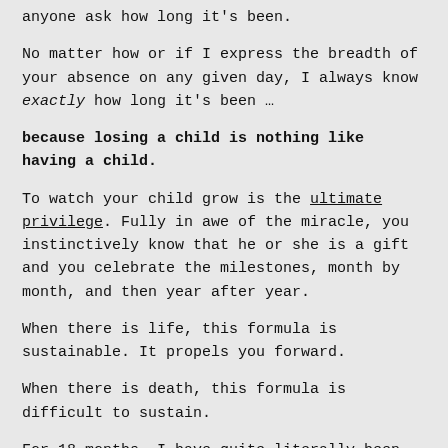anyone ask how long it's been.
No matter how or if I express the breadth of your absence on any given day, I always know exactly how long it's been …
because losing a child is nothing like having a child.
To watch your child grow is the ultimate privilege. Fully in awe of the miracle, you instinctively know that he or she is a gift and you celebrate the milestones, month by month, and then year after year.
When there is life, this formula is sustainable. It propels you forward.
When there is death, this formula is difficult to sustain.
For 18 months, I have quite literally been walking with my head turned in the opposite direction … looking backwards.